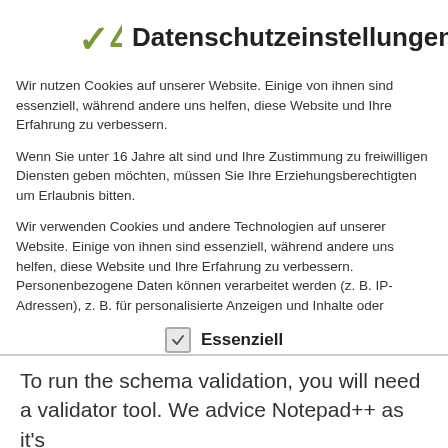✓4 Datenschutzeinstellungen
Wir nutzen Cookies auf unserer Website. Einige von ihnen sind essenziell, während andere uns helfen, diese Website und Ihre Erfahrung zu verbessern.
Wenn Sie unter 16 Jahre alt sind und Ihre Zustimmung zu freiwilligen Diensten geben möchten, müssen Sie Ihre Erziehungsberechtigten um Erlaubnis bitten.
Wir verwenden Cookies und andere Technologien auf unserer Website. Einige von ihnen sind essenziell, während andere uns helfen, diese Website und Ihre Erfahrung zu verbessern. Personenbezogene Daten können verarbeitet werden (z. B. IP-Adressen), z. B. für personalisierte Anzeigen und Inhalte oder
Essenziell
To run the schema validation, you will need a validator tool. We advice Notepad++ as it's